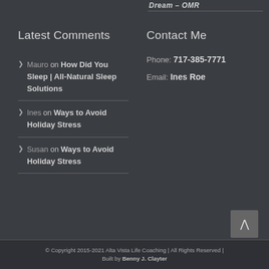Dream – OMR
Latest Comments
Mauro on How Did You Sleep | All-Natural Sleep Solutions
Ines on Ways to Avoid Holiday Stress
Susan on Ways to Avoid Holiday Stress
Contact Me
Phone: 717-385-7771
Email: Ines Roe
© Copyright 2015-2021 Alta Vista Life Coaching | All Rights Reserved | Built by Benny J. Clayter